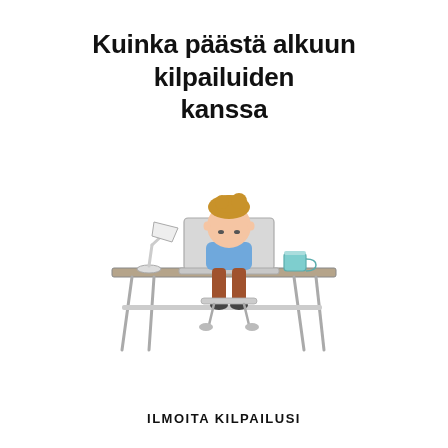Kuinka päästä alkuun kilpailuiden kanssa
[Figure (illustration): Flat-style illustration of a person sitting at a desk working on a laptop. A desk lamp is on the left, a coffee mug on the right. The person has brown hair and is wearing a blue shirt. The desk has thin legs.]
ILMOITA KILPAILUSI